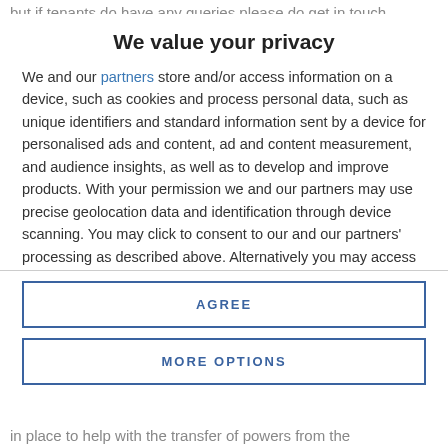but if tenants do have any queries please do get in touch
We value your privacy
We and our partners store and/or access information on a device, such as cookies and process personal data, such as unique identifiers and standard information sent by a device for personalised ads and content, ad and content measurement, and audience insights, as well as to develop and improve products. With your permission we and our partners may use precise geolocation data and identification through device scanning. You may click to consent to our and our partners' processing as described above. Alternatively you may access more detailed information and change your preferences before consenting or to refuse consenting. Please note that some processing of your personal data may not require your consent, but you have a right to
AGREE
MORE OPTIONS
in place to help with the transfer of powers from the